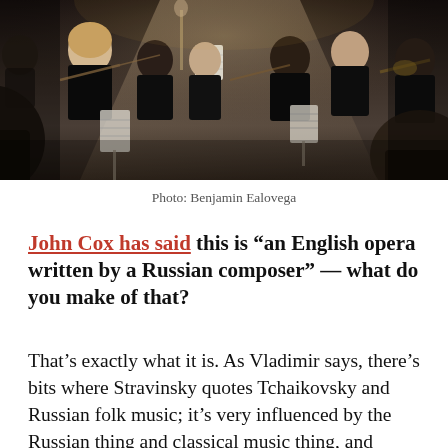[Figure (photo): Orchestra musicians in formal black attire playing stringed instruments, with a conductor visible in the background. Photo taken from behind the musicians showing sheet music stands.]
Photo: Benjamin Ealovega
John Cox has said this is “an English opera written by a Russian composer” — what do you make of that?
That’s exactly what it is. As Vladimir says, there’s bits where Stravinsky quotes Tchaikovsky and Russian folk music; it’s very influenced by the Russian thing and classical music thing, and Kallman, who was American, and Auden, who was an English connection, they set...